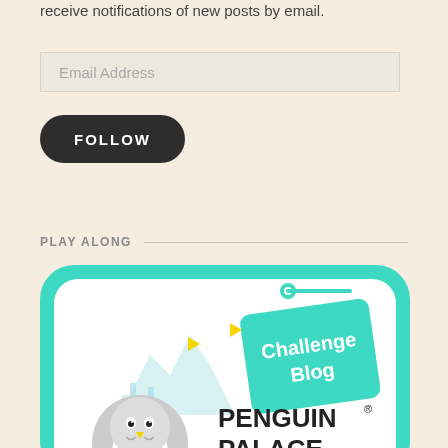receive notifications of new posts by email.
Email Address
FOLLOW
PLAY ALONG
[Figure (logo): Penguin Palace Challenge Blog badge/logo. Teal rounded square border with white interior, a cartoon penguin, a teal hanging sign reading 'Challenge Blog', yellow arrow decorations, and text reading 'PENGUIN PALACE' with registered trademark symbol.]